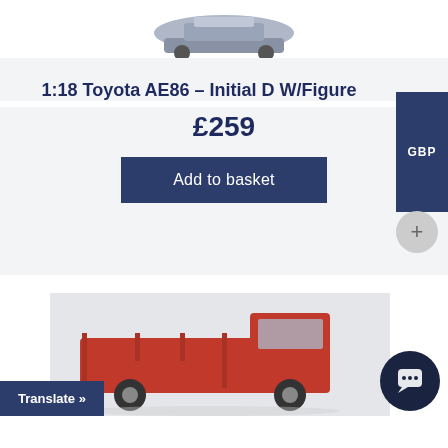[Figure (photo): Top portion of a 1:18 scale model car (Toyota AE86) on white background, cropped at top]
1:18 Toyota AE86 – Initial D W/Figure
£259
Add to basket
GBP
[Figure (photo): Red Toyota pickup truck (Land Cruiser style) model car, partially visible at bottom of page]
Translate »